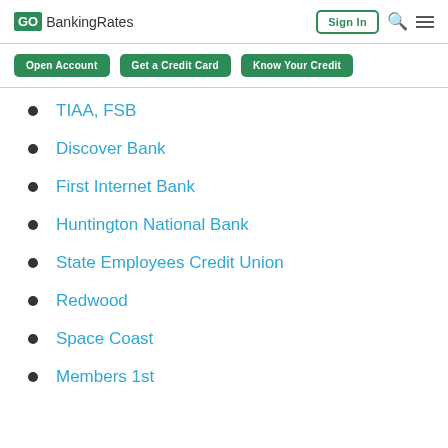GOBankingRates | Sign In
TIAA, FSB
Discover Bank
First Internet Bank
Huntington National Bank
State Employees Credit Union
Redwood
Space Coast
Members 1st